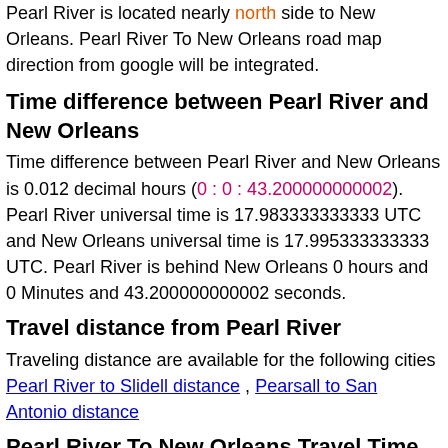Pearl River is located nearly north side to New Orleans. Pearl River To New Orleans road map direction from google will be integrated.
Time difference between Pearl River and New Orleans
Time difference between Pearl River and New Orleans is 0.012 decimal hours (0 : 0 : 43.200000000002). Pearl River universal time is 17.983333333333 UTC and New Orleans universal time is 17.995333333333 UTC. Pearl River is behind New Orleans 0 hours and 0 Minutes and 43.200000000002 seconds.
Travel distance from Pearl River
Traveling distance are available for the following cities Pearl River to Slidell distance , Pearsall to San Antonio distance
Pearl River To New Orleans Travel Time
Travel time from Pearl River To New Orleans will take 0 hours and 57.86 minutes if the vehicle keep an average speed of sixty kilometer